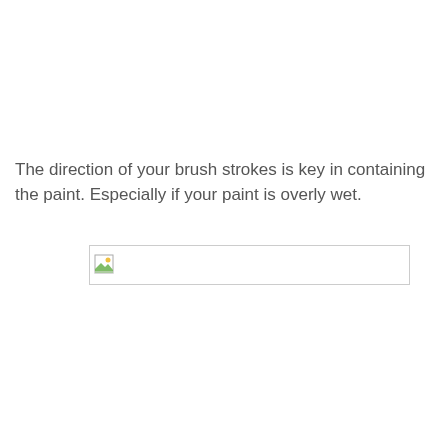The direction of your brush strokes is key in containing the paint. Especially if your paint is overly wet.
[Figure (photo): Broken image placeholder — a thin wide rectangle with a small broken image icon in the top-left corner, representing a missing or unloaded image.]